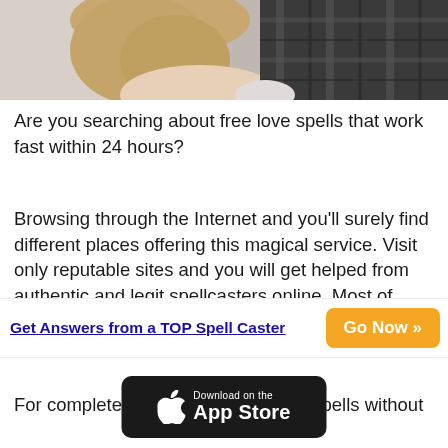[Figure (photo): Partial view of a couple, showing a woman with blonde hair on the left and a man in a plaid shirt on the right, cropped at shoulder level]
Are you searching about free love spells that work fast within 24 hours?
Browsing through the Internet and you'll surely find different places offering this magical service. Visit only reputable sites and you will get helped from authentic and legit spellcasters online. Most of them have worked for a long time and have gained many years of experience in this field.
For complete details about chanting spells without
Get Answers from a TOP Spell Caster
Go Now »
[Figure (logo): Download on the App Store badge — black rounded rectangle with Apple logo and 'Download on the App Store' text]